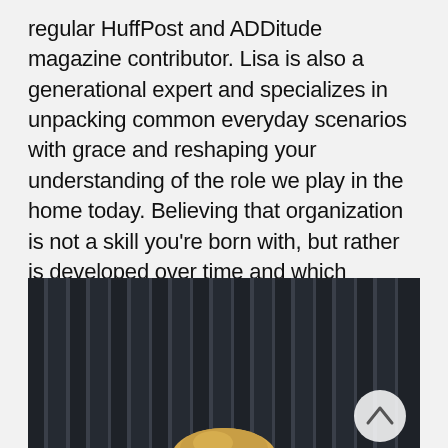regular HuffPost and ADDitude magazine contributor. Lisa is also a generational expert and specializes in unpacking common everyday scenarios with grace and reshaping your understanding of the role we play in the home today. Believing that organization is not a skill you're born with, but rather is developed over time and which changes with each season of life, she made it her mission to redefine what it means to be a woman in the home.
[Figure (photo): A person with blonde hair visible at the bottom, standing in front of dark curtains/draping background. A circular scroll-up button is visible in the lower right area of the image.]